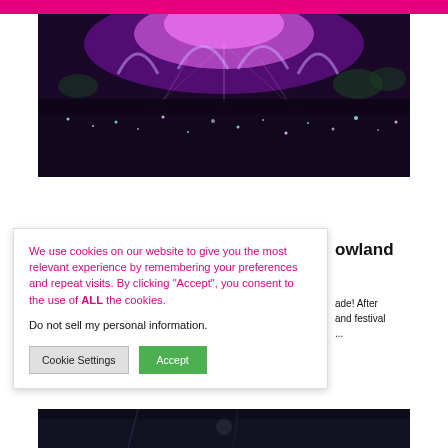[Figure (photo): Aerial view of a massive music festival crowd at night with a large illuminated stage showing pink and purple lights in the background]
We use cookies on our website to give you the most relevant experience by remembering your preferences and repeat visits. By clicking “Accept”, you consent to the use of ALL the cookies.
Do not sell my personal information.
Cookie Settings
Accept
owland
ade! After and festival ...
[Figure (photo): Partial bottom strip of another festival photo]